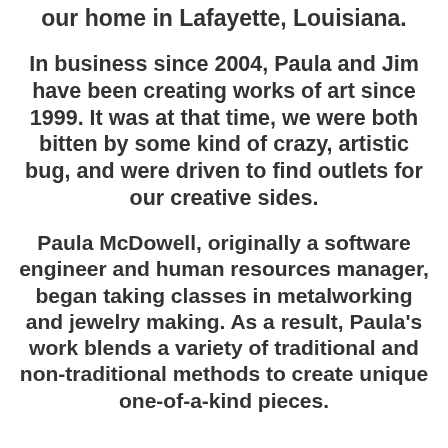our home in Lafayette, Louisiana.
In business since 2004, Paula and Jim have been creating works of art since 1999.  It was at that time, we were both bitten by some kind of crazy, artistic bug, and were driven to find outlets for our creative sides.
Paula McDowell, originally a software engineer and human resources manager, began taking classes in metalworking and jewelry making.  As a result, Paula's work blends a variety of traditional and non-traditional methods to create unique one-of-a-kind pieces.